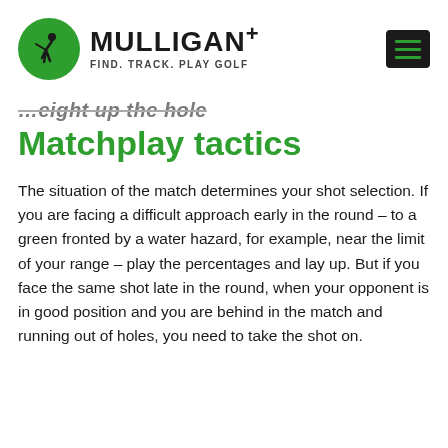MULLIGAN+ FIND. TRACK. PLAY GOLF
Matchplay tactics
The situation of the match determines your shot selection. If you are facing a difficult approach early in the round – to a green fronted by a water hazard, for example, near the limit of your range – play the percentages and lay up. But if you face the same shot late in the round, when your opponent is in good position and you are behind in the match and running out of holes, you need to take the shot on.